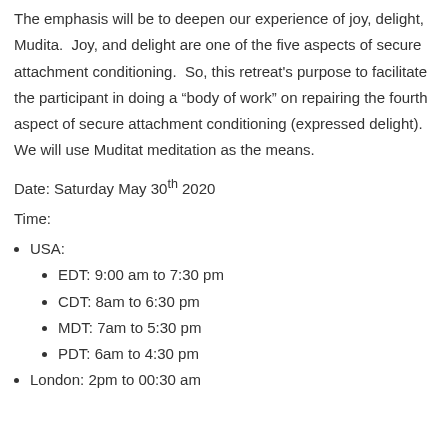The emphasis will be to deepen our experience of joy, delight, Mudita.  Joy, and delight are one of the five aspects of secure attachment conditioning.  So, this retreat's purpose to facilitate the participant in doing a "body of work" on repairing the fourth aspect of secure attachment conditioning (expressed delight).  We will use Muditat meditation as the means.
Date: Saturday May 30th 2020
Time:
USA:
EDT: 9:00 am to 7:30 pm
CDT: 8am to 6:30 pm
MDT: 7am to 5:30 pm
PDT: 6am to 4:30 pm
London: 2pm to 00:30 am